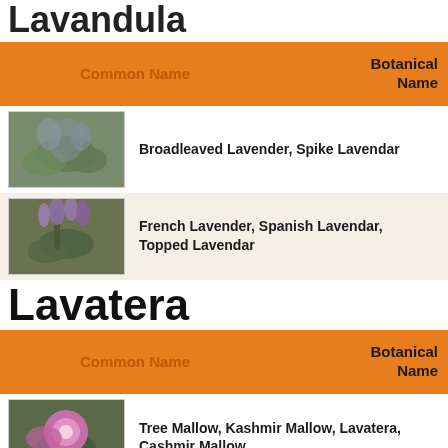Lavandula
| Common Name | Botanical Name |
| --- | --- |
| Broadleaved Lavender, Spike Lavendar |  |
| French Lavender, Spanish Lavendar, Topped Lavendar |  |
Lavatera
| Common Name | Botanical Name |
| --- | --- |
| Tree Mallow, Kashmir Mallow, Lavatera, Cashmir Mallow |  |
| Tree Mallow, Tree Lavatera, Gay Mallow |  |
Lawsonia